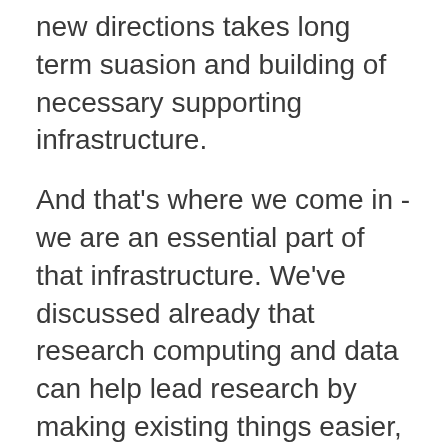new directions takes long term suasion and building of necessary supporting infrastructure.
And that's where we come in - we are an essential part of that infrastructure. We've discussed already that research computing and data can help lead research by making existing things easier, or making new things possible [#104]. What we haven't discussed, and the HESA article does, is that our teams